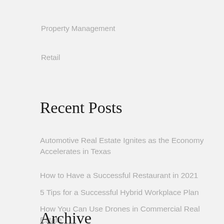Property Management
Retail
Recent Posts
Automotive Real Estate Ignites as the Economy Accelerates in Texas
How to Have a Successful Restaurant in 2021
5 Tips for a Successful Hybrid Workplace Plan
How You Can Use Drones in Commercial Real Estate
Archive